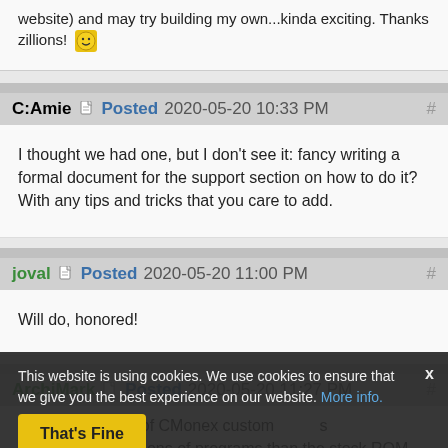website) and may try building my own...kinda exciting. Thanks zillions! 🙂
C:Amie Posted 2020-05-20 10:33 PM
I thought we had one, but I don't see it: fancy writing a formal document for the support section on how to do it? With any tips and tricks that you care to add.
joval Posted 2020-05-20 11:00 PM
Will do, honored!
ArchiMark Posted 2020-05-20 11:27 PM
Is the advantage of CMonex custom s more current versions of programs than the stock ROM
This website is using cookies. We use cookies to ensure that we give you the best experience on our website. More info. That's Fine